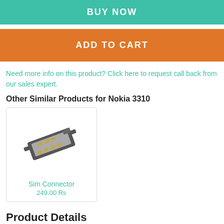BUY NOW
ADD TO CART
Need more info on this product? Click here to request call back from our sales expert.
Other Similar Products for Nokia 3310
[Figure (photo): Photo of a SIM connector hardware component for Nokia 3310]
Sim Connector
249.00 Rs
Product Details